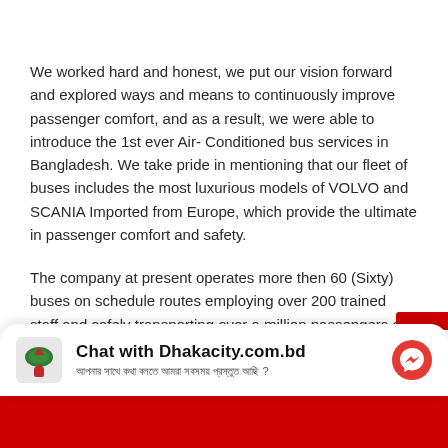We worked hard and honest, we put our vision forward and explored ways and means to continuously improve passenger comfort, and as a result, we were able to introduce the 1st ever Air- Conditioned bus services in Bangladesh. We take pride in mentioning that our fleet of buses includes the most luxurious models of VOLVO and SCANIA Imported from Europe, which provide the ultimate in passenger comfort and safety.
The company at present operates more then 60 (Sixty) buses on schedule routes employing over 200 trained staff and safely transporting over a million passengers a year.
[Figure (screenshot): Chat widget bar: Logo of Shyamoli Paribahan on left, 'Chat with Dhakacity.com.bd' title in bold, Bengali subtitle text, and a Messenger icon button on right.]